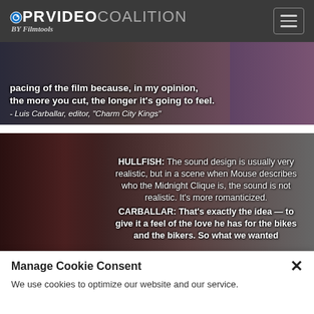PROVIDEO COALITION BY Filmtools
[Figure (photo): Screenshot of article page showing a quote over a film still: 'pacing of the film because, in my opinion, the more you cut, the longer it's going to feel.' - Luis Carballar, editor, "Charm City Kings"]
[Figure (photo): Screenshot of article page showing interview text over a film still: 'HULLFISH: The sound design is usually very realistic, but in a scene when Mouse describes who the Midnight Clique is, the sound is not realistic. It's more romanticized. CARBALLAR: That's exactly the idea — to give it a feel of the love he has for the bikes and the bikers. So what we wanted']
Manage Cookie Consent
We use cookies to optimize our website and our service.
Accept